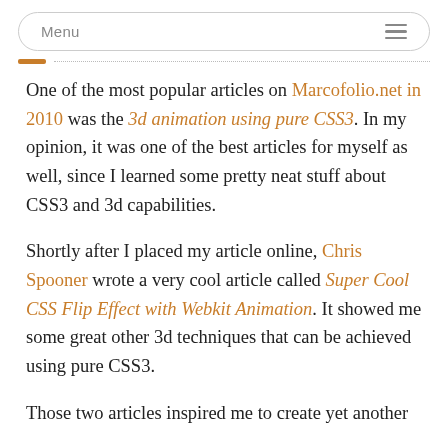Menu
One of the most popular articles on Marcofolio.net in 2010 was the 3d animation using pure CSS3. In my opinion, it was one of the best articles for myself as well, since I learned some pretty neat stuff about CSS3 and 3d capabilities.
Shortly after I placed my article online, Chris Spooner wrote a very cool article called Super Cool CSS Flip Effect with Webkit Animation. It showed me some great other 3d techniques that can be achieved using pure CSS3.
Those two articles inspired me to create yet another